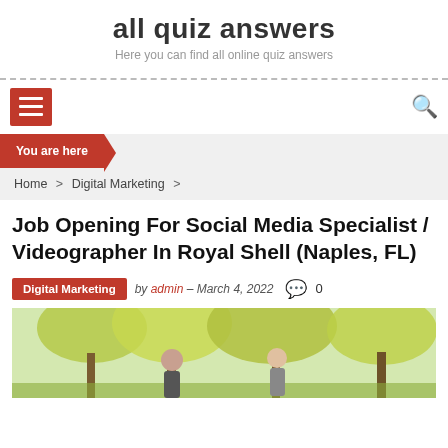all quiz answers
Here you can find all online quiz answers
You are here
Home > Digital Marketing >
Job Opening For Social Media Specialist / Videographer In Royal Shell (Naples, FL)
Digital Marketing  by admin - March 4, 2022  0
[Figure (photo): Outdoor photo showing people among trees with autumn foliage]